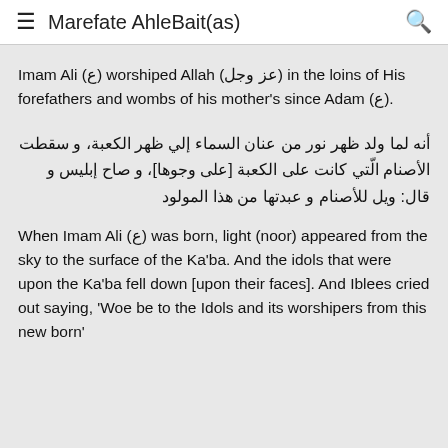≡ Marefate AhleBait(as)  🔍
Imam Ali (ع) worshiped Allah (عز وجل) in the loins of His forefathers and wombs of his mother's since Adam (ع).
أنه لما ولد ظهر نور من عنان السماء إلي ظهر الكعبة، و سقطت الأصنام الّتي كانت على الكعبة [على وجوها]، و صاح إبليس و قال: ويل للأصنام و عبدتها من هذا المولود
When Imam Ali (ع) was born, light (noor) appeared from the sky to the surface of the Ka'ba. And the idols that were upon the Ka'ba fell down [upon their faces]. And Iblees cried out saying, 'Woe be to the Idols and its worshipers from this new born'